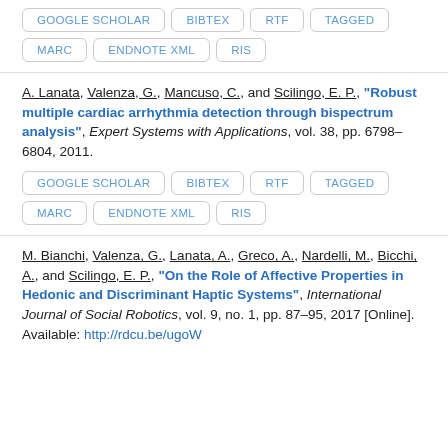GOOGLE SCHOLAR | BIBTEX | RTF | TAGGED | MARC | ENDNOTE XML | RIS
A. Lanata, Valenza, G., Mancuso, C., and Scilingo, E. P., "Robust multiple cardiac arrhythmia detection through bispectrum analysis", Expert Systems with Applications, vol. 38, pp. 6798–6804, 2011.
GOOGLE SCHOLAR | BIBTEX | RTF | TAGGED | MARC | ENDNOTE XML | RIS
M. Bianchi, Valenza, G., Lanata, A., Greco, A., Nardelli, M., Bicchi, A., and Scilingo, E. P., "On the Role of Affective Properties in Hedonic and Discriminant Haptic Systems", International Journal of Social Robotics, vol. 9, no. 1, pp. 87–95, 2017 [Online]. Available: http://rdcu.be/ugoW